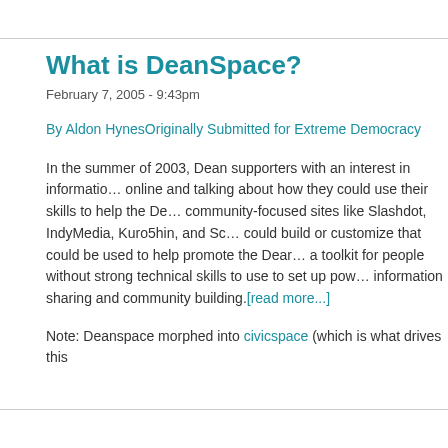What is DeanSpace?
February 7, 2005 - 9:43pm
By Aldon HynesOriginally Submitted for Extreme Democracy
In the summer of 2003, Dean supporters with an interest in information technology started getting online and talking about how they could use their skills to help the Dean campaign. They looked at community-focused sites like Slashdot, IndyMedia, Kuro5hin, and Scoop and thought about what they could build or customize that could be used to help promote the Dean campaign. They wanted to build a toolkit for people without strong technical skills to use to set up powerful tools for community information sharing and community building.[read more...]
Note: Deanspace morphed into civicspace (which is what drives this